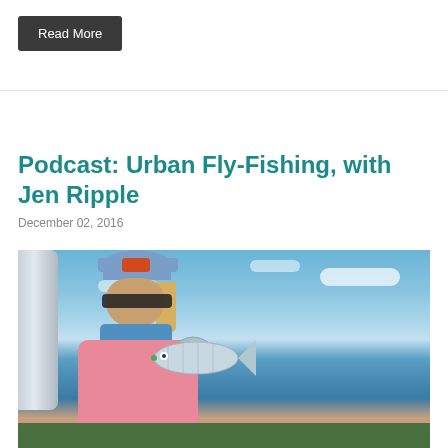Read More
Podcast: Urban Fly-Fishing, with Jen Ripple
December 02, 2016
[Figure (photo): Woman in blue cap and plaid shirt holding a fish, standing on a boat with blue sky and clouds in the background]